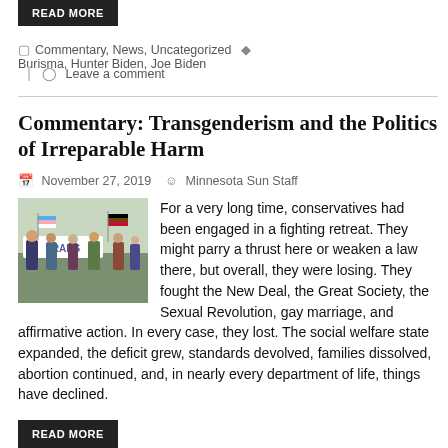READ MORE
Commentary, News, Uncategorized   Burisma, Hunter Biden, Joe Biden
Leave a comment
Commentary: Transgenderism and the Politics of Irreparable Harm
November 27, 2019   Minnesota Sun Staff
[Figure (photo): Photo of protesters at a trans rights rally holding flags and a banner reading 'TRANS'.]
For a very long time, conservatives had been engaged in a fighting retreat. They might parry a thrust here or weaken a law there, but overall, they were losing. They fought the New Deal, the Great Society, the Sexual Revolution, gay marriage, and affirmative action. In every case, they lost. The social welfare state expanded, the deficit grew, standards devolved, families dissolved, abortion continued, and, in nearly every department of life, things have declined.
READ MORE